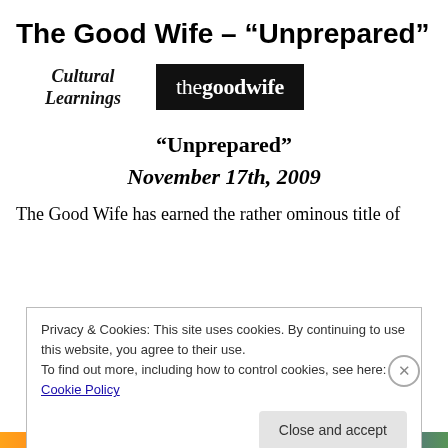The Good Wife – “Unprepared”
[Figure (logo): Cultural Learnings script logo on the left, and The Good Wife black rectangular logo on the right]
“Unprepared”
November 17th, 2009
The Good Wife has earned the rather ominous title of
Privacy & Cookies: This site uses cookies. By continuing to use this website, you agree to their use.
To find out more, including how to control cookies, see here: Cookie Policy
Close and accept